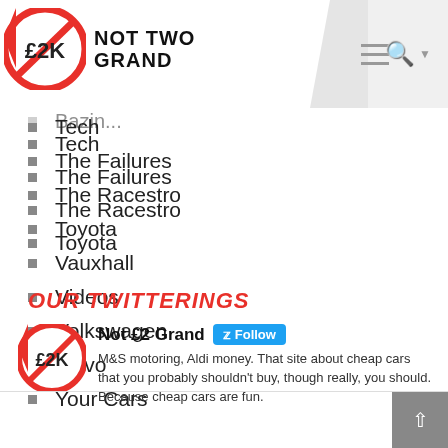Not Two Grand
Bazin...
Tech
The Failures
The Racestro
Toyota
Vauxhall
Videos
Volkswagen
Volvo
Your Cars
OUR TWITTERINGS
Not £2 Grand Follow
M&S motoring, Aldi money. That site about cheap cars that you probably shouldn't buy, though really, you should. Because cheap cars are fun.